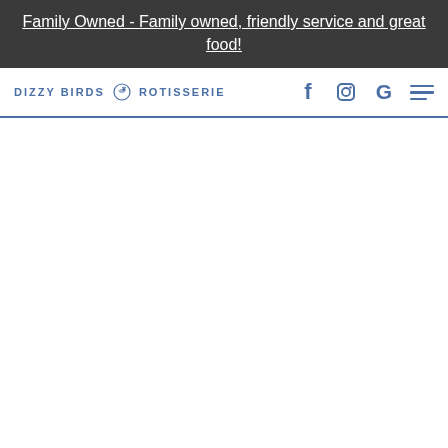Family Owned - Family owned, friendly service and great food!
[Figure (logo): Dizzy Birds Rotisserie logo with bird icon and social media icons (Facebook, Instagram, Google) and hamburger menu]